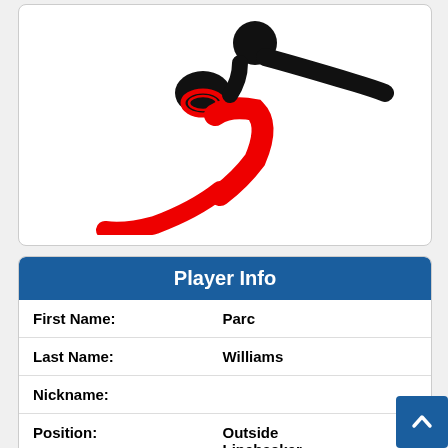[Figure (illustration): Stylized rugby/football player pictogram — black figure throwing a red oval ball, with a red body and sweeping leg behind, on white background]
Player Info
| First Name: | Parc |
| Last Name: | Williams |
| Nickname: |  |
| Position: | Outside Linebacker |
| College: | Minnesota |